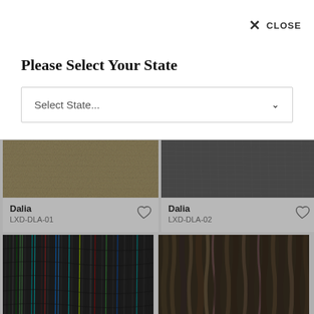✕ CLOSE
Please Select Your State
Select State...
[Figure (photo): Tan/olive woven fabric texture swatch for product Dalia LXD-DLA-01]
Dalia
LXD-DLA-01
[Figure (photo): Dark gray fibrous fabric texture swatch for product Dalia LXD-DLA-02]
Dalia
LXD-DLA-02
[Figure (photo): Dark fabric with colorful vertical fiber stripes (blue, green, red threads)]
[Figure (photo): Dark brown/olive wavy striped fabric texture swatch]